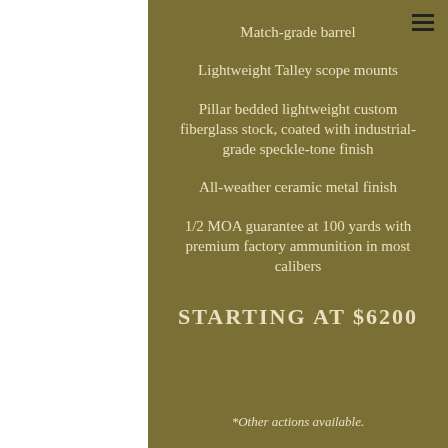Match-grade barrel
Lightweight Talley scope mounts
Pillar bedded lightweight custom fiberglass stock, coated with industrial-grade speckle-tone finish
All-weather ceramic metal finish
1/2 MOA guarantee at 100 yards with premium factory ammunition in most calibers
STARTING AT $6200
*Other actions available.